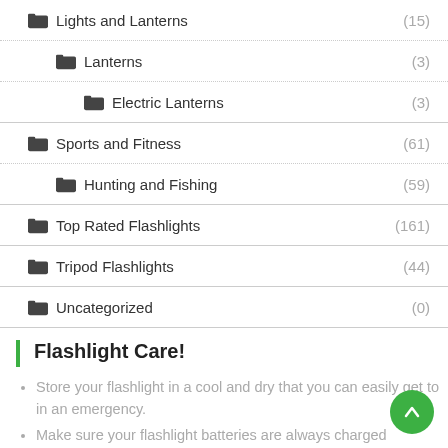Lights and Lanterns (15)
Lanterns (3)
Electric Lanterns (3)
Sports and Fitness (61)
Hunting and Fishing (59)
Top Rated Flashlights (161)
Tripod Flashlights (44)
Uncategorized (0)
Flashlight Care!
Store your flashlight in a cool and dry that you can easily get to in an emergency.
Make sure your flashlight batteries are always charged
Store extra batteries at all times for all of your flashlights